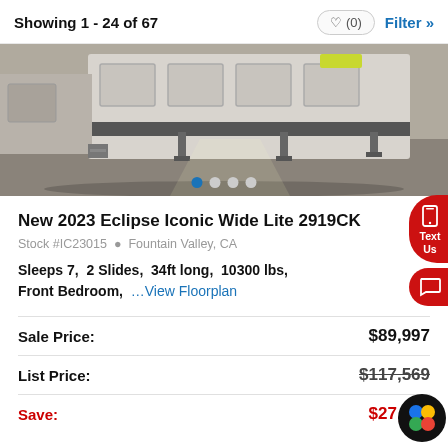Showing 1 - 24 of 67
[Figure (photo): Photo of a fifth-wheel RV trailer, exterior undercarriage view with jacks extended, parking lot setting]
New 2023 Eclipse Iconic Wide Lite 2919CK
Stock #IC23015  Fountain Valley, CA
Sleeps 7,  2 Slides,  34ft long,  10300 lbs,  Front Bedroom,  ...View Floorplan
|  |  |
| --- | --- |
| Sale Price: | $89,997 |
| List Price: | $117,569 |
| Save: | $27,572 |